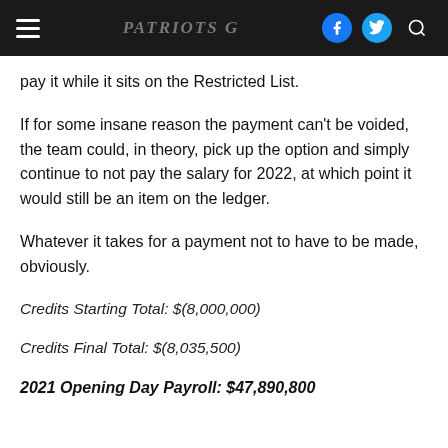Patriots.com
pay it while it sits on the Restricted List.
If for some insane reason the payment can't be voided, the team could, in theory, pick up the option and simply continue to not pay the salary for 2022, at which point it would still be an item on the ledger.
Whatever it takes for a payment not to have to be made, obviously.
Credits Starting Total: $(8,000,000)
Credits Final Total: $(8,035,500)
2021 Opening Day Payroll: $47,890,800